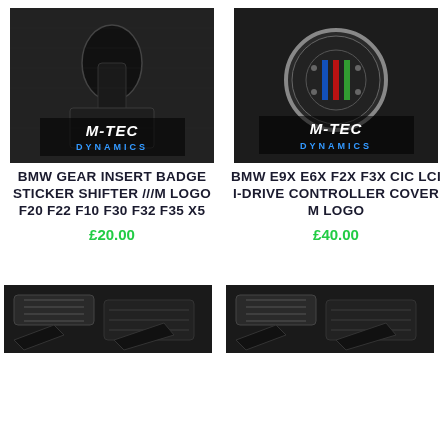[Figure (photo): BMW gear shift knob with carbon fiber surround and M-Tec Dynamics logo overlay]
BMW GEAR INSERT BADGE STICKER SHIFTER ///M LOGO F20 F22 F10 F30 F32 F35 X5
£20.00
[Figure (photo): BMW iDrive controller with M logo cover and carbon fiber trim, M-Tec Dynamics logo overlay]
BMW E9X E6X F2X F3X CIC LCI I-DRIVE CONTROLLER COVER M LOGO
£40.00
[Figure (photo): BMW carbon fiber dashboard vent trim pieces]
[Figure (photo): BMW carbon fiber dashboard vent trim pieces (second set)]